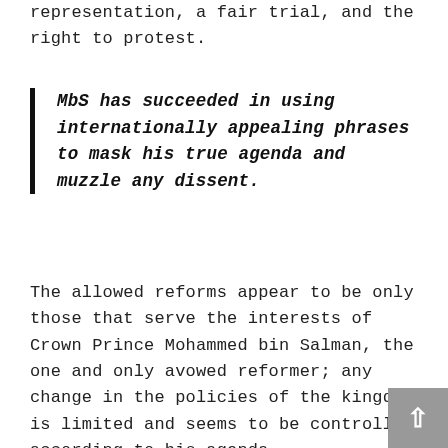representation, a fair trial, and the right to protest.
MbS has succeeded in using internationally appealing phrases to mask his true agenda and muzzle any dissent.
The allowed reforms appear to be only those that serve the interests of Crown Prince Mohammed bin Salman, the one and only avowed reformer; any change in the policies of the kingdom is limited and seems to be controlled according to his agenda.